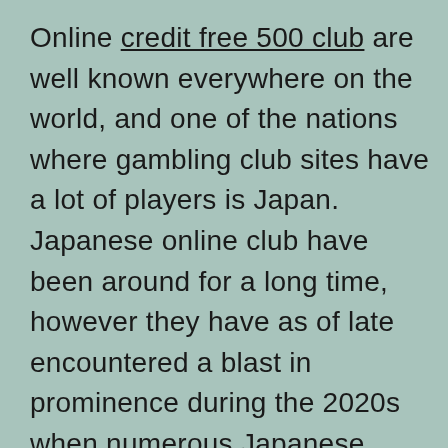Online credit free 500 club are well known everywhere on the world, and one of the nations where gambling club sites have a lot of players is Japan. Japanese online club have been around for a long time, however they have as of late encountered a blast in prominence during the 2020s when numerous Japanese players were urged to remain at home. There are various sorts of online gambling club games that are accessible on Japanese gambling club sites, however a couple are viewed as the most played and generally normal. Here are the mainstream